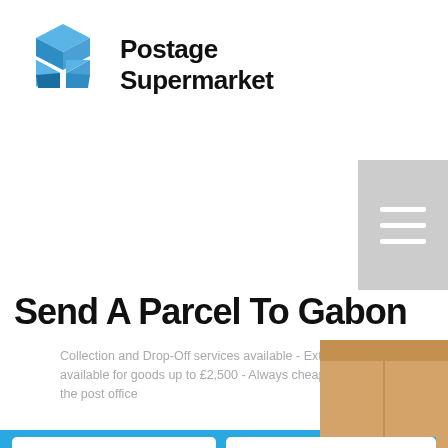[Figure (logo): Postage Supermarket logo with blue 3D box icon and bold text 'Postage Supermarket']
[Figure (illustration): Hamburger/menu icon button with three white horizontal lines on grey background]
Send A Parcel To Gabon
Collection and Drop-Off services available - Extra Cover available for goods up to £2,500 - Always cheaper than the post office
[Figure (photo): Cardboard parcel box visible in the right side background]
From: UK  Optional Post/Zip Code
To: Gabon  Optional Post/Zip Code
Weight  kg  Length  cm